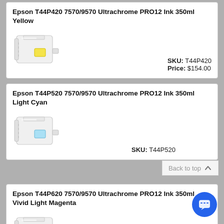Epson T44P420 7570/9570 Ultrachrome PRO12 Ink 350ml Yellow
[Figure (photo): White ink cartridge with yellow color indicator]
SKU: T44P420
Price: $154.00
Epson T44P520 7570/9570 Ultrachrome PRO12 Ink 350ml Light Cyan
[Figure (photo): White ink cartridge with light cyan color indicator]
SKU: T44P520
Epson T44P620 7570/9570 Ultrachrome PRO12 Ink 350ml Vivid Light Magenta
[Figure (photo): White ink cartridge with vivid light magenta color indicator]
SKU: T44P620